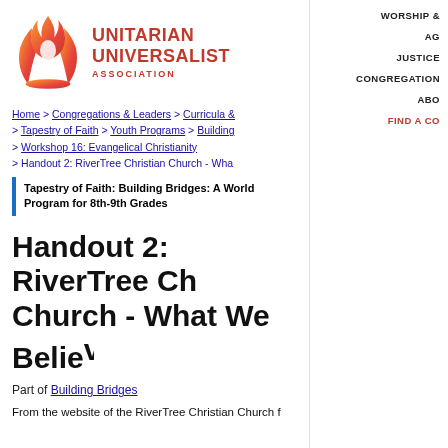[Figure (logo): Unitarian Universalist Association logo with flame icon and text]
WORSHIP &
AG
JUSTICE
CONGREGATION
ABO
FIND A CO
Home > Congregations & Leaders > Curricula & > Tapestry of Faith > Youth Programs > Building > Workshop 16: Evangelical Christianity > Handout 2: RiverTree Christian Church - Wha
Tapestry of Faith: Building Bridges: A World Program for 8th-9th Grades
Handout 2: RiverTree Christian Church - What We Believe
Part of Building Bridges
From the website of the RiverTree Christian Church f...